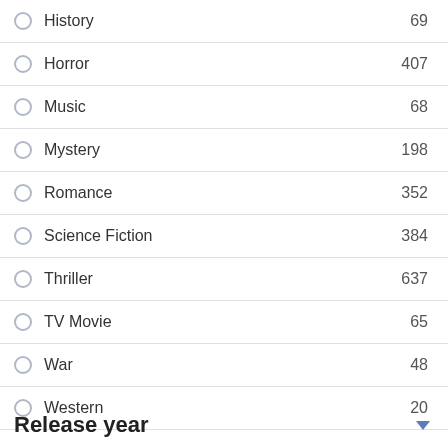History 69
Horror 407
Music 68
Mystery 198
Romance 352
Science Fiction 384
Thriller 637
TV Movie 65
War 48
Western 20
Release year